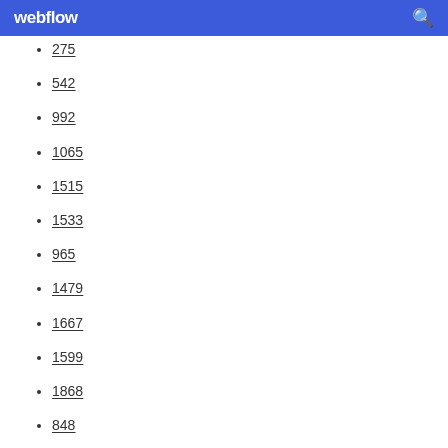webflow
275
542
992
1065
1515
1533
965
1479
1667
1599
1868
848
1229